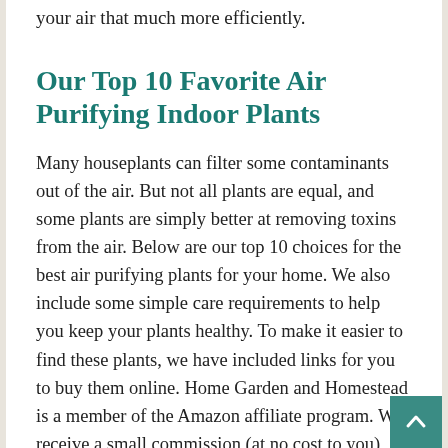your air that much more efficiently.
Our Top 10 Favorite Air Purifying Indoor Plants
Many houseplants can filter some contaminants out of the air. But not all plants are equal, and some plants are simply better at removing toxins from the air. Below are our top 10 choices for the best air purifying plants for your home. We also include some simple care requirements to help you keep your plants healthy. To make it easier to find these plants, we have included links for you to buy them online. Home Garden and Homestead is a member of the Amazon affiliate program. We receive a small commission (at no cost to you) when you buy using our links.